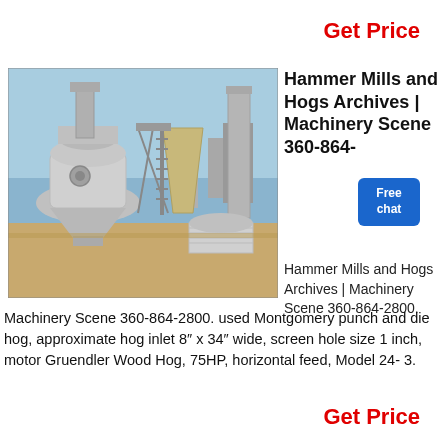Get Price
[Figure (photo): Industrial hammer mill/hog machinery installation showing large metal cyclone separator, conveyor structure, ladder, hopper, and cylindrical storage tank in an outdoor industrial yard under clear sky.]
Hammer Mills and Hogs Archives | Machinery Scene 360-864-...
Hammer Mills and Hogs Archives | Machinery Scene 360-864-2800.
Machinery Scene 360-864-2800. used Montgomery punch and die hog, approximate hog inlet 8″ x 34″ wide, screen hole size 1 inch, motor Gruendler Wood Hog, 75HP, horizontal feed, Model 24- 3.
Get Price